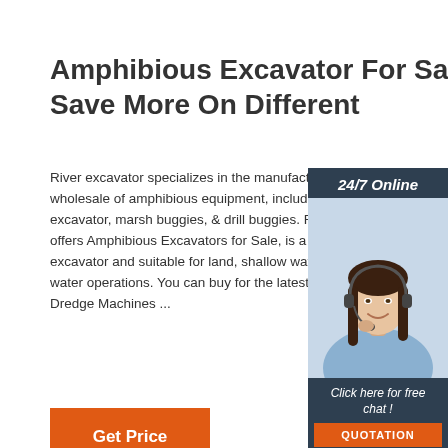Amphibious Excavator For Sale To Save More On Different
River excavator specializes in the manufacturing wholesale of amphibious equipment, including excavator, marsh buggies, & drill buggies. River offers Amphibious Excavators for Sale, is a multi excavator and suitable for land, shallow water water operations. You can buy for the latest m Dredge Machines ...
[Figure (illustration): Customer service representative with headset, 24/7 Online chat widget with orange QUOTATION button]
Get Price